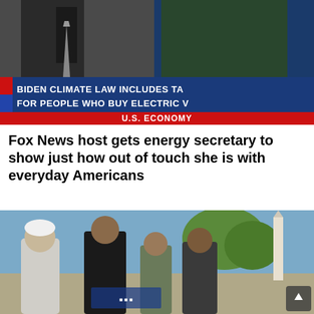[Figure (screenshot): Fox News TV screenshot showing two people (one with tie, one with dark jacket against blue background) and chyron text: 'BIDEN CLIMATE LAW INCLUDES TA… FOR PEOPLE WHO BUY ELECTRIC V…' with 'U.S. ECONOMY' banner below]
Fox News host gets energy secretary to show just how out of touch she is with everyday Americans
[Figure (photo): Outdoor photo of a group of people standing together, one wearing a white turban and robe, with a mosque minaret visible in the background against a blue sky]